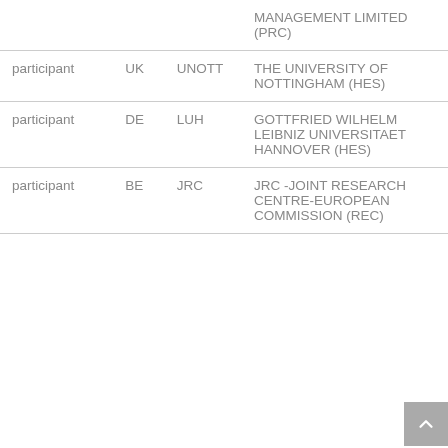|  |  |  | MANAGEMENT LIMITED (PRC) |
| participant | UK | UNOTT | THE UNIVERSITY OF NOTTINGHAM (HES) |
| participant | DE | LUH | GOTTFRIED WILHELM LEIBNIZ UNIVERSITAET HANNOVER (HES) |
| participant | BE | JRC | JRC -JOINT RESEARCH CENTRE-EUROPEAN COMMISSION (REC) |